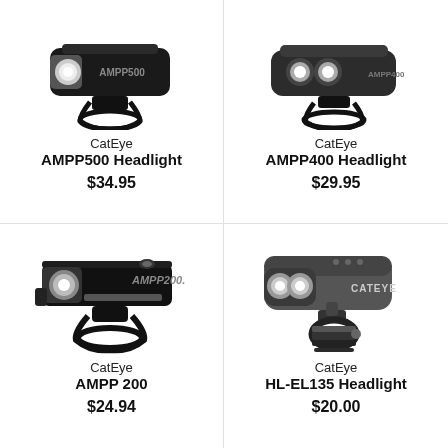[Figure (photo): CatEye AMPP500 Headlight bicycle light, black, front view with mount]
CatEye
AMPP500 Headlight
$34.95
[Figure (photo): CatEye AMPP400 Headlight bicycle light, dark gray, front view]
CatEye
AMPP400 Headlight
$29.95
[Figure (photo): CatEye AMPP 200 bicycle headlight, black, front view with strap mount]
CatEye
AMPP 200
$24.94
[Figure (photo): CatEye HL-EL135 bicycle headlight, gray, front view with handlebar mount]
CatEye
HL-EL135 Headlight
$20.00